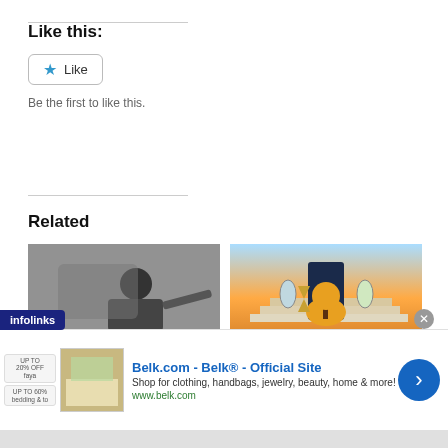Like this:
[Figure (other): Like button widget with star icon]
Be the first to like this.
Related
[Figure (photo): Black and white photo of a guitarist playing electric guitar on stage]
Asher Monroe has released the music video for Midnight ...
[Figure (photo): Fantasy illustration titled Windows of Time with an hourglass, glowing tree, and cosmic doorway]
'Windows of Time' is a beautiful and thought-provoking album from Asher ...
[Figure (infographic): Infolinks advertisement bar for Belk.com - Belk Official Site]
Belk.com - Belk® - Official Site
Shop for clothing, handbags, jewelry, beauty, home & more!
www.belk.com